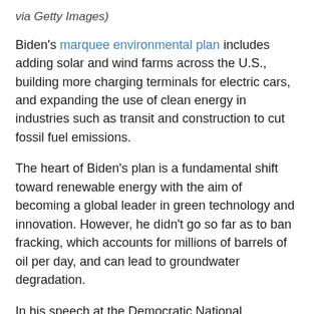via Getty Images)
Biden's marquee environmental plan includes adding solar and wind farms across the U.S., building more charging terminals for electric cars, and expanding the use of clean energy in industries such as transit and construction to cut fossil fuel emissions.
The heart of Biden's plan is a fundamental shift toward renewable energy with the aim of becoming a global leader in green technology and innovation. However, he didn't go so far as to ban fracking, which accounts for millions of barrels of oil per day, and can lead to groundwater degradation.
In his speech at the Democratic National Convention, Biden drew a direct line between fighting climate change and creating new American jobs.
“We can, and we will, deal with climate change. It’s not only